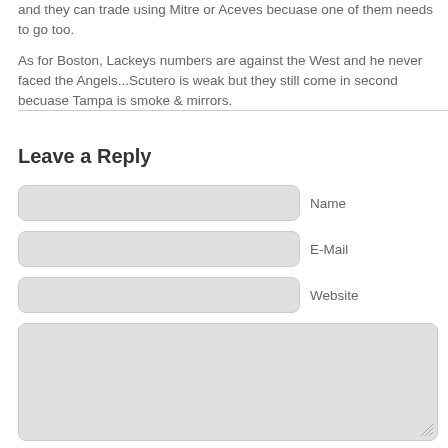and they can trade using Mitre or Aceves becuase one of them needs to go too.

As for Boston, Lackeys numbers are against the West and he never faced the Angels...Scutero is weak but they still come in second becuase Tampa is smoke & mirrors.
Leave a Reply